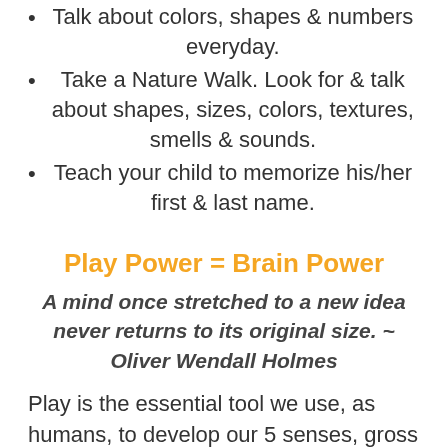Talk about colors, shapes & numbers everyday.
Take a Nature Walk. Look for & talk about shapes, sizes, colors, textures, smells & sounds.
Teach your child to memorize his/her first & last name.
Play Power = Brain Power
A mind once stretched to a new idea never returns to its original size. ~ Oliver Wendall Holmes
Play is the essential tool we use, as humans, to develop our 5 senses, gross & fine motor